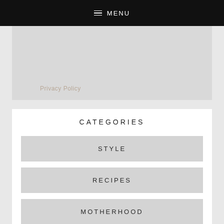MENU
Privacy Policy
CATEGORIES
STYLE
RECIPES
MOTHERHOOD
MEAL PLANNING